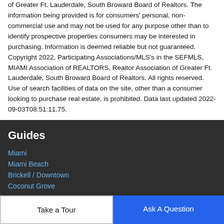of Greater Ft. Lauderdale, South Broward Board of Realtors. The information being provided is for consumers' personal, non-commercial use and may not be used for any purpose other than to identify prospective properties consumers may be interested in purchasing. Information is deemed reliable but not guaranteed. Copyright 2022, Participating Associations/MLS's in the SEFMLS, MIAMI Association of REALTORS, Realtor Association of Greater Ft. Lauderdale, South Broward Board of Realtors. All rights reserved. Use of search facilities of data on the site, other than a consumer looking to purchase real estate, is prohibited. Data last updated 2022-09-03T08:51:11.75.
Guides
Miami
Miami Beach
Brickell / Downtown
Coconut Grove
Take a Tour
Ask A Question